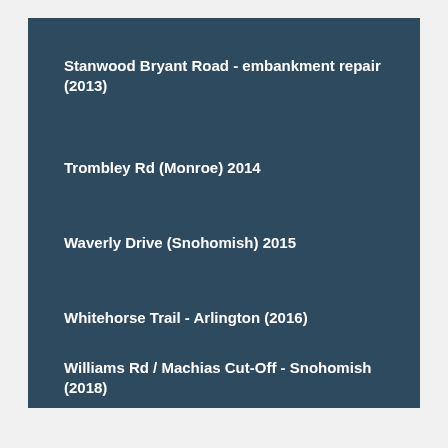Stanwood Bryant Road - embankment repair (2013)
Trombley Rd (Monroe) 2014
Waverly Drive (Snohomish) 2015
Whitehorse Trail - Arlington (2016)
Williams Rd / Machias Cut-Off - Snohomish (2018)